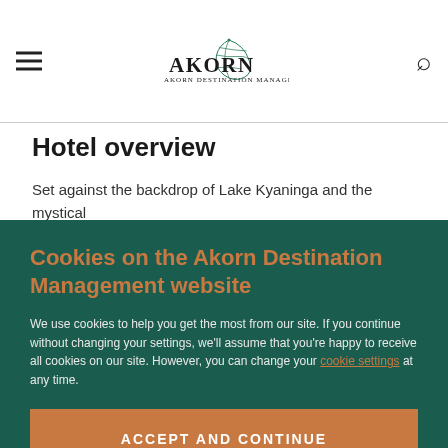Akorn Destination Management
Hotel overview
Set against the backdrop of Lake Kyaninga and the mystical
Cookies on the Akorn Destination Management website
We use cookies to help you get the most from our site. If you continue without changing your settings, we'll assume that you're happy to receive all cookies on our site. However, you can change your cookie settings at any time.
ACCEPT AND CONTINUE
CHANGE MY COOKIE SETTINGS